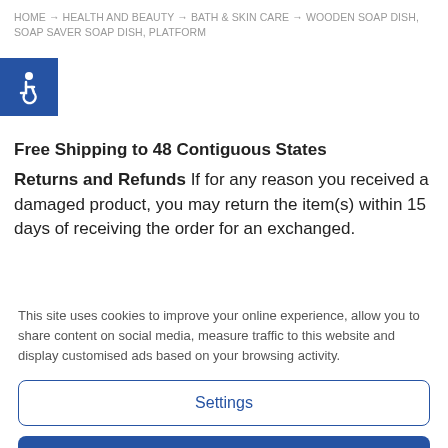HOME → HEALTH AND BEAUTY → BATH & SKIN CARE → WOODEN SOAP DISH, SOAP SAVER SOAP DISH, PLATFORM
[Figure (illustration): Blue square accessibility icon with white wheelchair symbol]
Free Shipping to 48 Contiguous States
Returns and Refunds If for any reason you received a damaged product, you may return the item(s) within 15 days of receiving the order for an exchanged.
This site uses cookies to improve your online experience, allow you to share content on social media, measure traffic to this website and display customised ads based on your browsing activity.
Settings
Accept